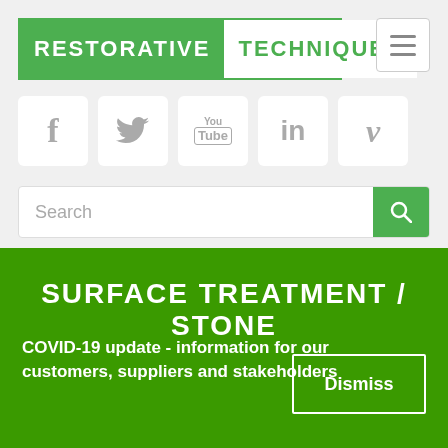[Figure (logo): Restorative Techniques logo: green background left half with white text 'RESTORATIVE', white background right half with green text 'TECHNIQUES']
[Figure (infographic): Social media icons: Facebook (f), Twitter (bird), YouTube (You/Tube), LinkedIn (in), Vimeo (v) — each in a white rounded square on grey background]
[Figure (screenshot): Search bar with 'Search' placeholder text and green search button with magnifying glass icon]
SURFACE TREATMENT / STONE
COVID-19 update - information for our customers, suppliers and stakeholders
Dismiss